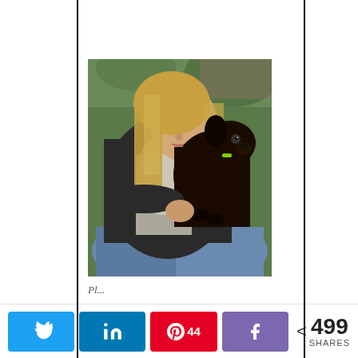[Figure (photo): A woman with long blonde hair wearing a dark knit sweater and white scarf holds a small dark brown (chocolate) Labrador puppy up close to her face. She is looking down at the puppy affectionately. The puppy looks upward. Background shows green foliage.]
Pl...
[Figure (infographic): Social share bar with Twitter button, LinkedIn button, Pinterest button showing 44 shares, Facebook button, and total share count of 499 SHARES]